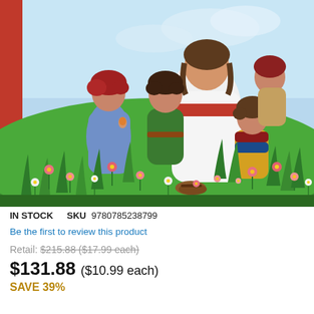[Figure (illustration): Children's book illustration showing Jesus in white robes with a red sash seated among children in a meadow with colorful flowers. A girl in blue dress stands to the left, a child in green in the center looks up at Jesus, and two children on the right interact with Jesus. Lush green grass and pink and white wildflowers fill the foreground. A red vertical bar is visible on the left edge (book spine or binding).]
IN STOCK   SKU 9780785238799
Be the first to review this product
Retail: $215.88 ($17.99 each)
$131.88 ($10.99 each)
SAVE 39%